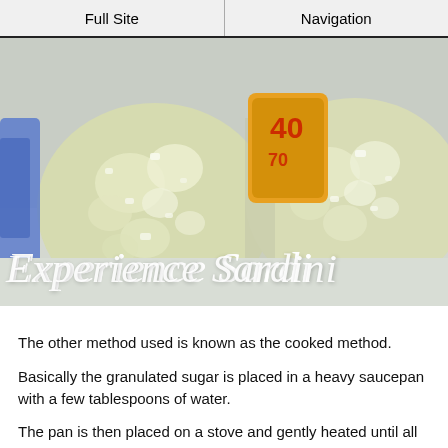Full Site | Navigation
[Figure (photo): Close-up photograph of two sugar-coated almond confections (Sardinian almonds) covered in white crystallized sugar, with colorful packaging visible in the background. Overlay text reads 'Experience Sardini...' in italic white script.]
The other method used is known as the cooked method.
Basically the granulated sugar is placed in a heavy saucepan with a few tablespoons of water.
The pan is then placed on a stove and gently heated until all the sugar is melted, taking care not to let the sugar boil and turn to caramel otherwise you will end up with a brown coloured almond